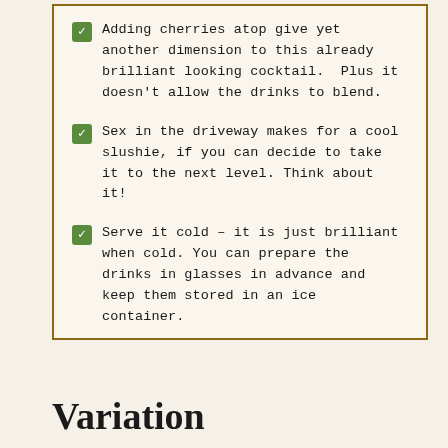Adding cherries atop give yet another dimension to this already brilliant looking cocktail. Plus it doesn't allow the drinks to blend.
Sex in the driveway makes for a cool slushie, if you can decide to take it to the next level. Think about it!
Serve it cold – it is just brilliant when cold. You can prepare the drinks in glasses in advance and keep them stored in an ice container.
Variation